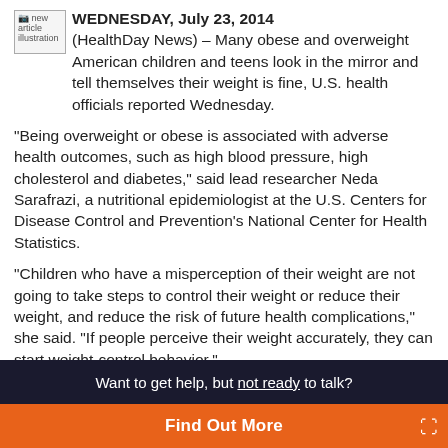[Figure (illustration): Small image placeholder labeled 'new article illustration']
WEDNESDAY, July 23, 2014 (HealthDay News) – Many obese and overweight American children and teens look in the mirror and tell themselves their weight is fine, U.S. health officials reported Wednesday.
"Being overweight or obese is associated with adverse health outcomes, such as high blood pressure, high cholesterol and diabetes," said lead researcher Neda Sarafrazi, a nutritional epidemiologist at the U.S. Centers for Disease Control and Prevention's National Center for Health Statistics.
"Children who have a misperception of their weight are not going to take steps to control their weight or reduce their weight, and reduce the risk of future health complications," she said. "If people perceive their weight accurately, they can start weight-control behavior."
Want to get help, but not ready to talk?
Find Out More